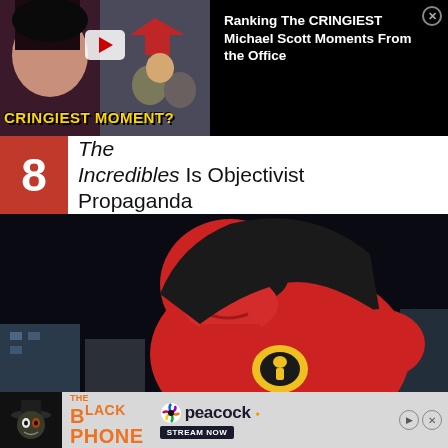[Figure (screenshot): Advertisement banner: YouTube video thumbnail showing woman crying and man at podium with 'CRINGIEST MOMENT?' text overlay, alongside text 'Ranking The CRINGIEST Michael Scott Moments From the Office' with close button on dark background]
8  The Incredibles Is Objectivist Propaganda
[Figure (screenshot): Screenshot from The Incredibles animated film showing Mr. Incredible character in red suit with black mask, looking down, against dark background with city buildings visible]
[Figure (screenshot): Bottom advertisement banner: The Black Phone movie promotion with Peacock streaming service logo and 'STREAM NOW' button on grey background]